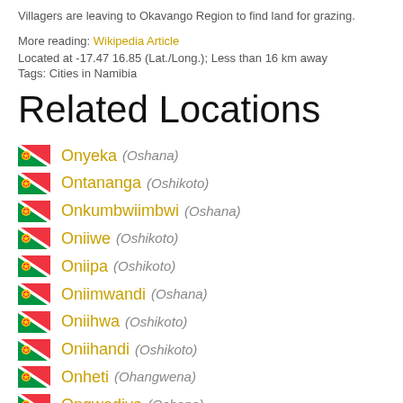Villagers are leaving to Okavango Region to find land for grazing.
More reading: Wikipedia Article
Located at -17.47 16.85 (Lat./Long.); Less than 16 km away
Tags: Cities in Namibia
Related Locations
Onyeka (Oshana)
Ontananga (Oshikoto)
Onkumbwiimbwi (Oshana)
Oniiwe (Oshikoto)
Oniipa (Oshikoto)
Oniimwandi (Oshana)
Oniihwa (Oshikoto)
Oniihandi (Oshikoto)
Onheti (Ohangwena)
Ongwediva (Oshana)